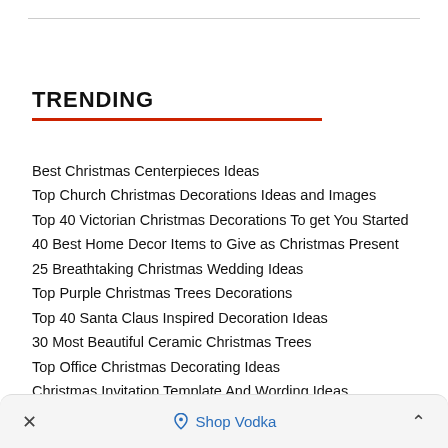TRENDING
Best Christmas Centerpieces Ideas
Top Church Christmas Decorations Ideas and Images
Top 40 Victorian Christmas Decorations To get You Started
40 Best Home Decor Items to Give as Christmas Present
25 Breathtaking Christmas Wedding Ideas
Top Purple Christmas Trees Decorations
Top 40 Santa Claus Inspired Decoration Ideas
30 Most Beautiful Ceramic Christmas Trees
Top Office Christmas Decorating Ideas
Christmas Invitation Template And Wording Ideas
× ♡ Shop Vodka ^